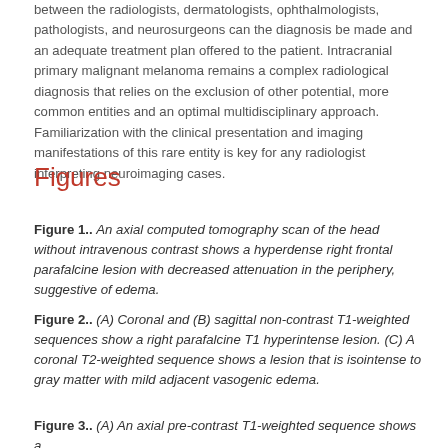between the radiologists, dermatologists, ophthalmologists, pathologists, and neurosurgeons can the diagnosis be made and an adequate treatment plan offered to the patient. Intracranial primary malignant melanoma remains a complex radiological diagnosis that relies on the exclusion of other potential, more common entities and an optimal multidisciplinary approach. Familiarization with the clinical presentation and imaging manifestations of this rare entity is key for any radiologist interpreting neuroimaging cases.
Figures
Figure 1.. An axial computed tomography scan of the head without intravenous contrast shows a hyperdense right frontal parafalcine lesion with decreased attenuation in the periphery, suggestive of edema.
Figure 2.. (A) Coronal and (B) sagittal non-contrast T1-weighted sequences show a right parafalcine T1 hyperintense lesion. (C) A coronal T2-weighted sequence shows a lesion that is isointense to gray matter with mild adjacent vasogenic edema.
Figure 3.. (A) An axial pre-contrast T1-weighted sequence shows a